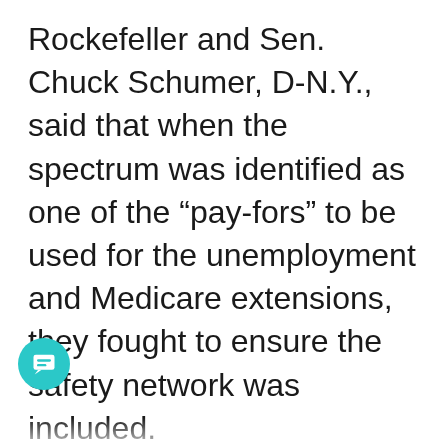Rockefeller and Sen. Chuck Schumer, D-N.Y., said that when the spectrum was identified as one of the “pay-fors” to be used for the unemployment and Medicare extensions, they fought to ensure the safety network was included.
“There was an eleventh-hour scare when House Republicans wanted to [all]ow the network to be created, but not give it any funding,” Schumer said